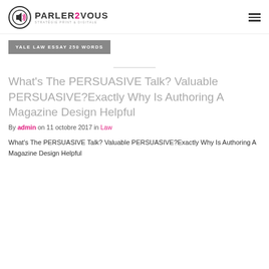[Figure (logo): Parler2Vous logo with speaker icon and tagline STRATÉGIE PRINT & DIGITALE]
YALE LAW ESSAY 250 WORDS
What's The PERSUASIVE Talk? Valuable PERSUASIVE?Exactly Why Is Authoring A Magazine Design Helpful
By admin on 11 octobre 2017 in Law
What's The PERSUASIVE Talk? Valuable PERSUASIVE?Exactly Why Is Authoring A Magazine Design Helpful